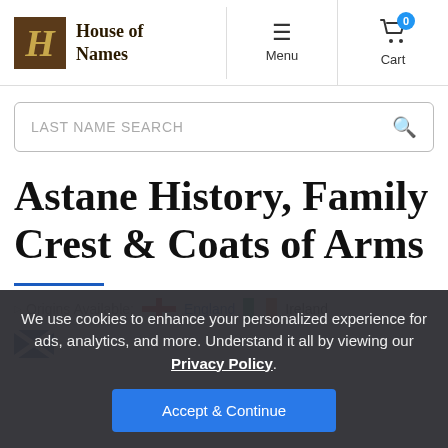House of Names — Menu | Cart
LAST NAME SEARCH
Astane History, Family Crest & Coats of Arms
Origins Available: England  Ireland
We use cookies to enhance your personalized experience for ads, analytics, and more. Understand it all by viewing our Privacy Policy.
Accept & Continue